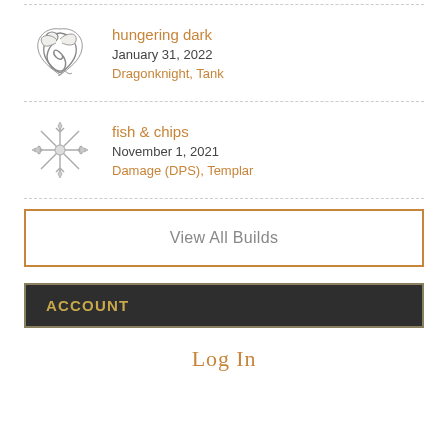hungering dark — January 31, 2022 — Dragonknight, Tank
fish & chips — November 1, 2021 — Damage (DPS), Templar
View All Builds
ACCOUNT
Log In